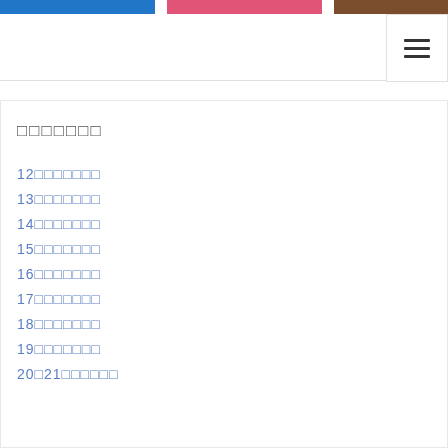Navigation header with colored bars and hamburger menu
XXXXXXX
12XXXXXXX
13XXXXXXX
14XXXXXXX
15XXXXXXX
16XXXXXXX
17XXXXXXX
18XXXXXXX
19XXXXXXX
20X21XXXXXXX